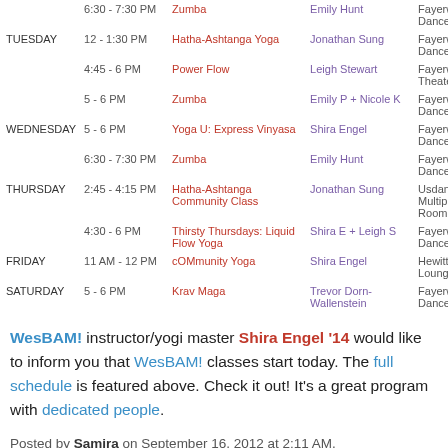| Day | Time | Class | Instructor | Location |
| --- | --- | --- | --- | --- |
|  | 6:30 - 7:30 PM | Zumba | Emily Hunt | Fayerweather Dance Room |
| TUESDAY | 12 - 1:30 PM | Hatha-Ashtanga Yoga | Jonathan Sung | Fayerweather Dance Room |
|  | 4:45 - 6 PM | Power Flow | Leigh Stewart | Fayerweather Theater Roo |
|  | 5 - 6 PM | Zumba | Emily P + Nicole K | Fayerweather Dance Room |
| WEDNESDAY | 5 - 6 PM | Yoga U: Express Vinyasa | Shira Engel | Fayerweather Dance Room |
|  | 6:30 - 7:30 PM | Zumba | Emily Hunt | Fayerweather Dance Room |
| THURSDAY | 2:45 - 4:15 PM | Hatha-Ashtanga Community Class | Jonathan Sung | Usdan Multipurpose Room |
|  | 4:30 - 6 PM | Thirsty Thursdays: Liquid Flow Yoga | Shira E + Leigh S | Fayerweather Dance Room |
| FRIDAY | 11 AM - 12 PM | cOMmunity Yoga | Shira Engel | Hewitt 9 Lounge |
| SATURDAY | 5 - 6 PM | Krav Maga | Trevor Dorn-Wallenstein | Fayerweather Dance Room |
WesBAM! instructor/yogi master Shira Engel '14 would like to inform you that WesBAM! classes start today. The full schedule is featured above. Check it out! It's a great program with dedicated people.
Posted by Samira on September 16, 2012 at 2:11 AM.